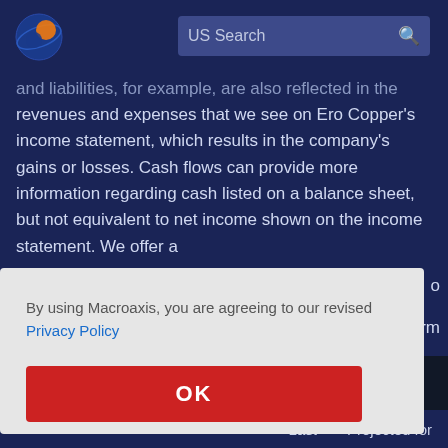[Figure (logo): Macroaxis globe logo with orange and blue colors]
US Search
and liabilities, for example, are also reflected in the revenues and expenses that we see on Ero Copper's income statement, which results in the company's gains or losses. Cash flows can provide more information regarding cash listed on a balance sheet, but not equivalent to net income shown on the income statement. We offer a
By using Macroaxis, you are agreeing to our revised Privacy Policy
OK
Last    Projected for